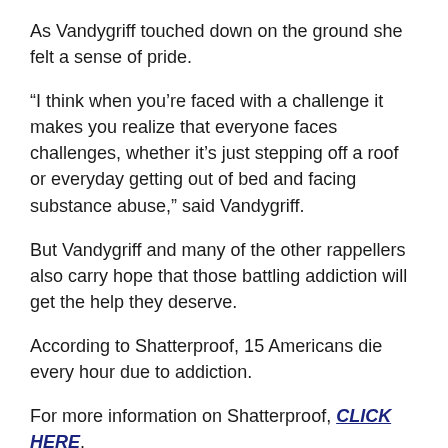As Vandygriff touched down on the ground she felt a sense of pride.
“I think when you’re faced with a challenge it makes you realize that everyone faces challenges, whether it’s just stepping off a roof or everyday getting out of bed and facing substance abuse,” said Vandygriff.
But Vandygriff and many of the other rappellers also carry hope that those battling addiction will get the help they deserve.
According to Shatterproof, 15 Americans die every hour due to addiction.
For more information on Shatterproof, CLICK HERE.